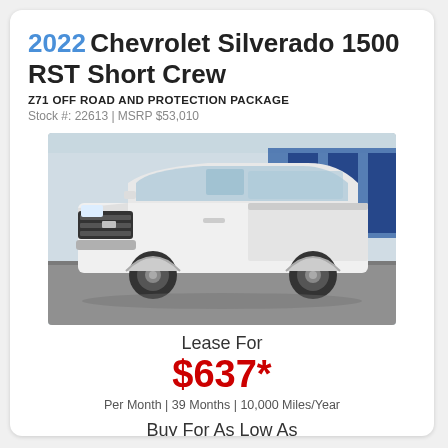2022 Chevrolet Silverado 1500 RST Short Crew
Z71 OFF ROAD AND PROTECTION PACKAGE
Stock #: 22613 | MSRP $53,010
[Figure (photo): White 2022 Chevrolet Silverado 1500 RST Short Crew pickup truck parked in a lot with a blue dealership building in the background]
Lease For
$637*
Per Month | 39 Months | 10,000 Miles/Year
Buy For As Low As
$52,010*